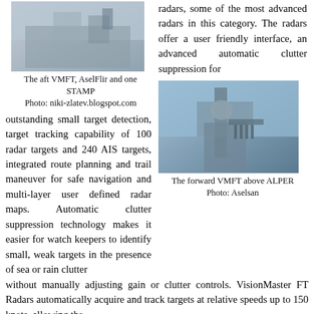[Figure (photo): The aft VMFT, AselFlir and one STAMP mounted on a naval vessel superstructure]
The aft VMFT, AselFlir and one STAMP
Photo: niki-zlatev.blogspot.com
radars, some of the most advanced radars in this category. The radars offer a user friendly interface, an advanced automatic clutter suppression for
outstanding small target detection, target tracking capability of 100 radar targets and 240 AIS targets, integrated route planning and trail maneuver for safe navigation and multi-layer user defined radar maps. Automatic clutter suppression technology makes it easier for watch keepers to identify small, weak targets in the presence of sea or rain clutter
[Figure (photo): The forward VMFT above ALPER, showing radar and weapons systems on a naval vessel mast]
The forward VMFT above ALPER
Photo: Aselsan
without manually adjusting gain or clutter controls. VisionMaster FT Radars automatically acquire and track targets at relative speeds up to 150 knots, allowing the